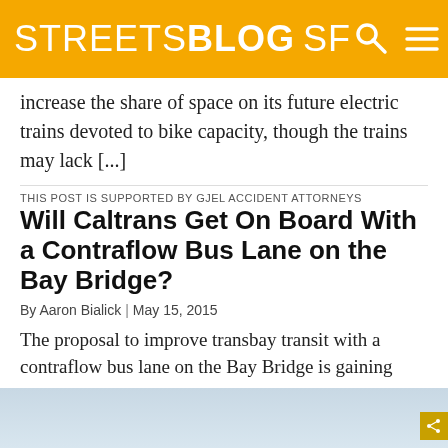STREETSBLOG SF
increase the share of space on its future electric trains devoted to bike capacity, though the trains may lack [...]
THIS POST IS SUPPORTED BY GJEL ACCIDENT ATTORNEYS
Will Caltrans Get On Board With a Contraflow Bus Lane on the Bay Bridge?
By Aaron Bialick | May 15, 2015
The proposal to improve transbay transit with a contraflow bus lane on the Bay Bridge is gaining traction, as the SF Chronicle reported yesterday. The idea has been pushed by proponents at SPUR, AC Transit, and some BART board members for years as a relatively quick and inexpensive solution to move more people between SF and the East Bay. BART is already [...]
[Figure (photo): Photo strip at the bottom of the page, light blue-gray sky/water image]